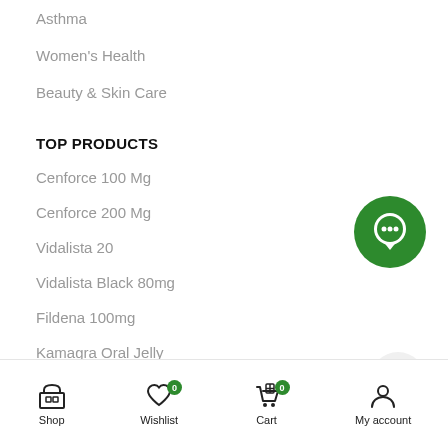Asthma
Women's Health
Beauty & Skin Care
TOP PRODUCTS
Cenforce 100 Mg
Cenforce 200 Mg
Vidalista 20
Vidalista Black 80mg
Fildena 100mg
Kamagra Oral Jelly
[Figure (illustration): Green circular chat/support button with white speech bubble icon]
[Figure (illustration): Light grey circular scroll-to-top button with upward caret arrow]
Shop  Wishlist 0  Cart 0  My account